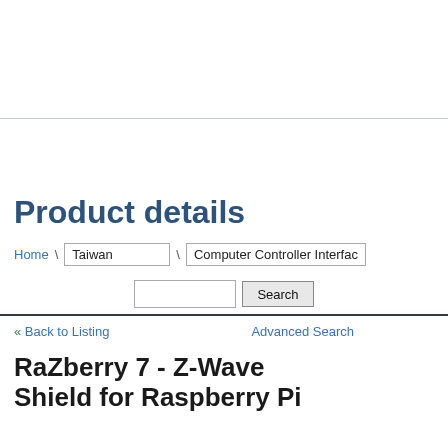Product details
Home \ Taiwan \ Computer Controller Interfac
Search
Advanced Search
« Back to Listing
RaZberry 7 - Z-Wave Shield for Raspberry Pi